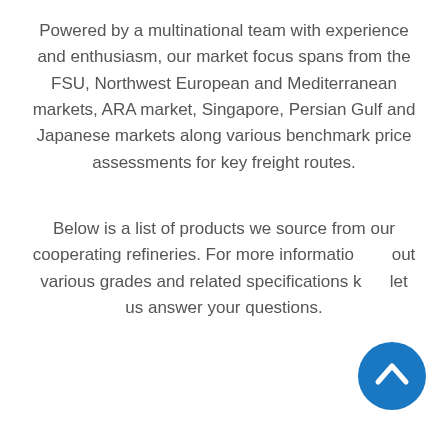Powered by a multinational team with experience and enthusiasm, our market focus spans from the FSU, Northwest European and Mediterranean markets, ARA market, Singapore, Persian Gulf and Japanese markets along various benchmark price assessments for key freight routes.
Below is a list of products we source from our cooperating refineries. For more information about various grades and related specifications kindly let us answer your questions.